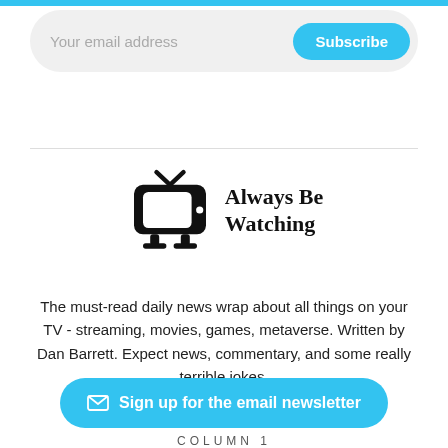Your email address
Subscribe
[Figure (logo): Always Be Watching logo with a vintage TV icon and stylized text]
The must-read daily news wrap about all things on your TV - streaming, movies, games, metaverse. Written by Dan Barrett. Expect news, commentary, and some really terrible jokes.
Sign up for the email newsletter
COLUMN 1